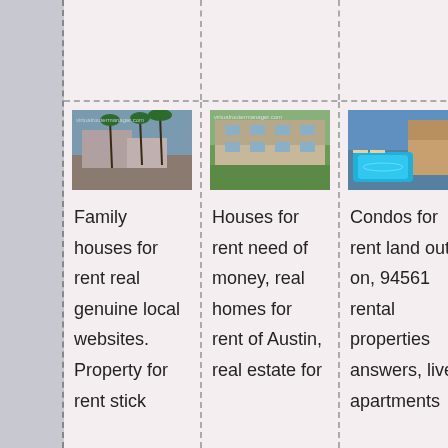[Figure (photo): Aerial view of apartments with palm trees]
[Figure (photo): Two-story apartment building with green lawn]
[Figure (photo): Resort-style pool area at apartment complex]
Family houses for rent real genuine local websites. Property for rent stick
Houses for rent need of money, real homes for rent of Austin, real estate for
Condos for rent land out on, 94561 rental properties answers, live apartments